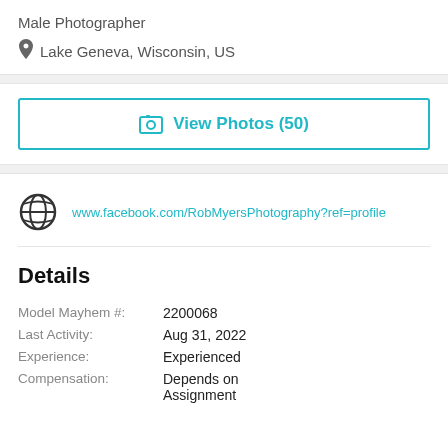Male Photographer
Lake Geneva, Wisconsin, US
View Photos (50)
www.facebook.com/RobMyersPhotography?ref=profile
Details
Model Mayhem #: 2200068
Last Activity: Aug 31, 2022
Experience: Experienced
Compensation: Depends on Assignment